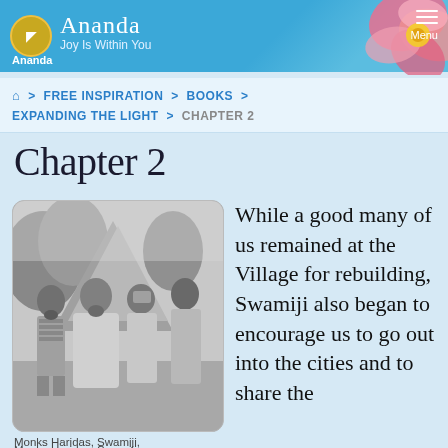Ananda — Joy Is Within You
FREE INSPIRATION > BOOKS > EXPANDING THE LIGHT > CHAPTER 2
Chapter 2
[Figure (photo): Black and white photo of four monks standing together outdoors near a structure]
Monks Haridas, Swamiji, Keshava, Santosh mid 70s
While a good many of us remained at the Village for rebuilding, Swamiji also began to encourage us to go out into the cities and to share the